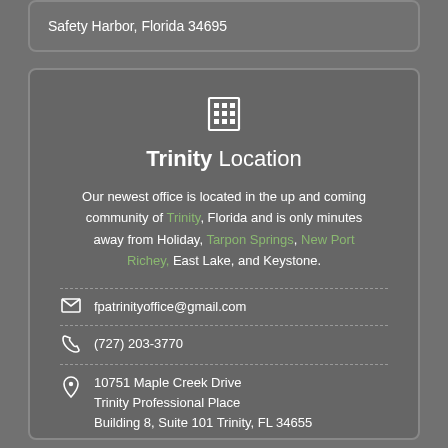Safety Harbor, Florida 34695
[Figure (illustration): Building/office icon (white grid building symbol)]
Trinity Location
Our newest office is located in the up and coming community of Trinity, Florida and is only minutes away from Holiday, Tarpon Springs, New Port Richey, East Lake, and Keystone.
fpatrinityoffice@gmail.com
(727) 203-3770
10751 Maple Creek Drive
Trinity Professional Place
Building 8, Suite 101 Trinity, FL 34655